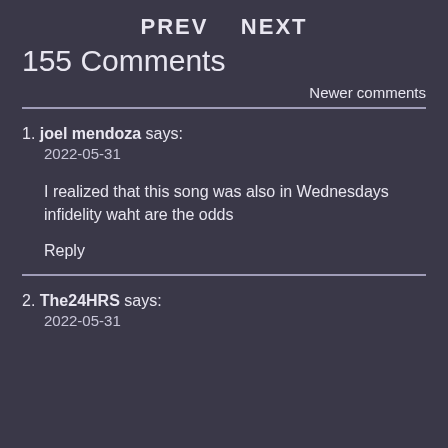PREV   NEXT
155 Comments
Newer comments
1. joel mendoza says:
2022-05-31

I realized that this song was also in Wednesdays infidelity waht are the odds

Reply
2. The24HRS says:
2022-05-31